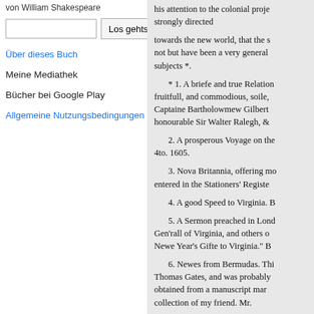von William Shakespeare
Los gehts! [search box]
Über dieses Buch
Meine Mediathek
Bücher bei Google Play
Allgemeine Nutzungsbedingungen
his attention to the colonial proje strongly directed towards the new world, that the s not but have been a very general subjects *.
* 1. A briefe and true Relation fruitfull, and commodious, soile, Captaine Bartholowmew Gilbert honourable Sir Walter Ralegh, &
2. A prosperous Voyage on the 4to. 1605.
3. Nova Britannia, offering mo entered in the Stationers' Registe
4. A good Speed to Virginia. B
5. A Sermon preached in Lond Gen'rall of Virginia, and others o Newe Year's Gifte to Virginia." B
6. Newes from Bermudas. Thi Thomas Gates, and was probably obtained from a manuscript mar collection of my friend. Mr.